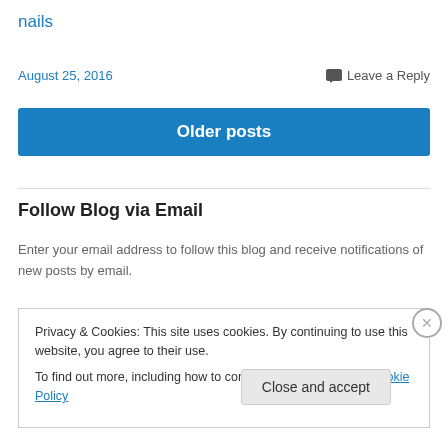nails
August 25, 2016
Leave a Reply
Older posts
Follow Blog via Email
Enter your email address to follow this blog and receive notifications of new posts by email.
Privacy & Cookies: This site uses cookies. By continuing to use this website, you agree to their use.
To find out more, including how to control cookies, see here: Cookie Policy
Close and accept